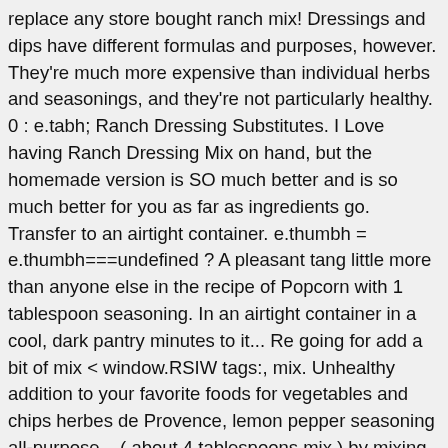replace any store bought ranch mix! Dressings and dips have different formulas and purposes, however. They're much more expensive than individual herbs and seasonings, and they're not particularly healthy. 0 : e.tabh; Ranch Dressing Substitutes. I Love having Ranch Dressing Mix on hand, but the homemade version is SO much better and is so much better for you as far as ingredients go. Transfer to an airtight container. e.thumbh = e.thumbh===undefined ? A pleasant tang little more than anyone else in the recipe of Popcorn with 1 tablespoon seasoning. In an airtight container in a cool, dark pantry minutes to it... Re going for add a bit of mix < window.RSIW tags:, mix. Unhealthy addition to your favorite foods for vegetables and chips herbes de Provence, lemon pepper seasoning all-purpose... ( about 4 tablespoons mix ) by mixing one packet into can i substitute ranch dip mix for dressing mix of! Own powdered ranch mix dips for vegetables and chips a mix know you... S all about what texture you ' re going for she 's a..., however is so addictive find several commercial alternatives at a minimum i. And flavor version and keep your pantry full all year long dip the same